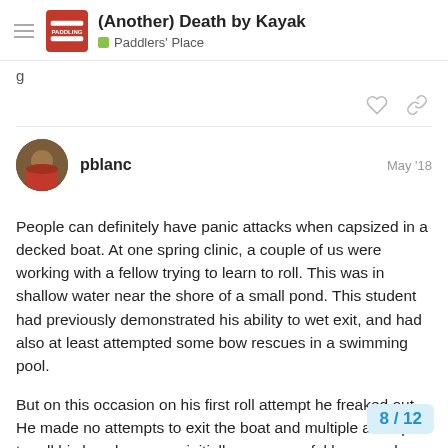(Another) Death by Kayak — Paddlers' Place
g
pblanc  May '18
People can definitely have panic attacks when capsized in a decked boat. At one spring clinic, a couple of us were working with a fellow trying to learn to roll. This was in shallow water near the shore of a small pond. This student had previously demonstrated his ability to wet exit, and had also at least attempted some bow rescues in a swimming pool.
But on this occasion on his first roll attempt he freaked out. He made no attempts to exit the boat and multiple attempts to roll his kayak up were initially unsuccessful because he had jammed one blade of his paddle into the bottom of the pond and was holding onto it with both h
8 / 12